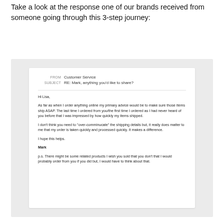Take a look at the response one of our brands received from someone going through this 3-step journey:
[Figure (screenshot): Email screenshot showing a customer reply. FROM: Customer Service. SUBJECT: RE: Mark, anything you'd like to share? Body: Hi Lisa, As far as when I order anything online my primary advice would be to make sure those items ship ASAP. The last time I ordered from you/the first time I ordered as I had never heard of you before that I was impressed by how quickly my items shipped. I don't think you need to "over-comminucate" the shipping details but, it really does matter to me that my order is taken quickly and processed quickly. It makes a difference. I hope this helps. Mark. p.s. There might be some related products I wish you sold that you don't that I would probably order from you if you did but, I would have to think about that.]